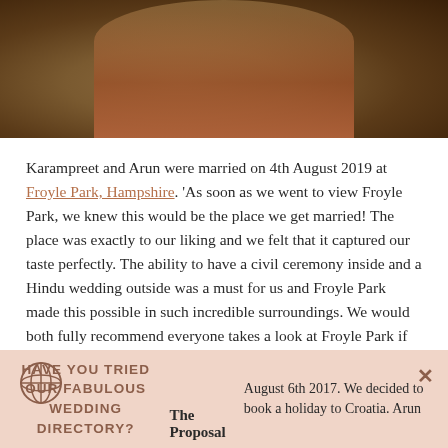[Figure (photo): Wedding photo of Karampreet and Arun in traditional Indian wedding attire, cropped to show torsos, with a path in the background]
Karampreet and Arun were married on 4th August 2019 at Froyle Park, Hampshire. 'As soon as we went to view Froyle Park, we knew this would be the place we get married! The place was exactly to our liking and we felt that it captured our taste perfectly. The ability to have a civil ceremony inside and a Hindu wedding outside was a must for us and Froyle Park made this possible in such incredible surroundings. We would both fully recommend everyone takes a look at Froyle Park if you are planning a wedding. We had 150 guests and it took 18 – 24 months to plan.'
[Figure (infographic): Pink banner with decorative globe/web icon on left, text reading 'HAVE YOU TRIED OUR FABULOUS WEDDING DIRECTORY?' in uppercase, and an X close button on the right]
The Proposal
August 6th 2017. We decided to book a holiday to Croatia. Arun